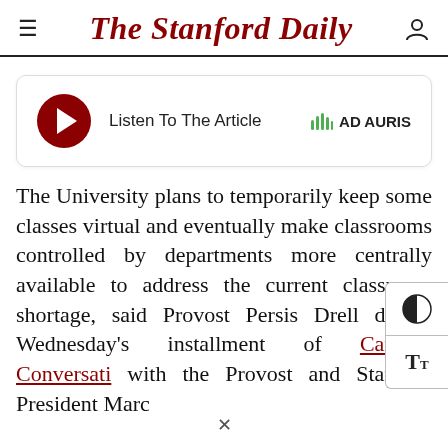The Stanford Daily
[Figure (other): Audio player widget with red play button, 'Listen To The Article' text, and 'AD AURIS' branding with green sound wave icon]
The University plans to temporarily keep some classes virtual and eventually make classrooms controlled by departments more centrally available to address the current classroom shortage, said Provost Persis Drell during Wednesday's installment of Campus Conversati[ons] with the Provost and Stanford President Marc[...]